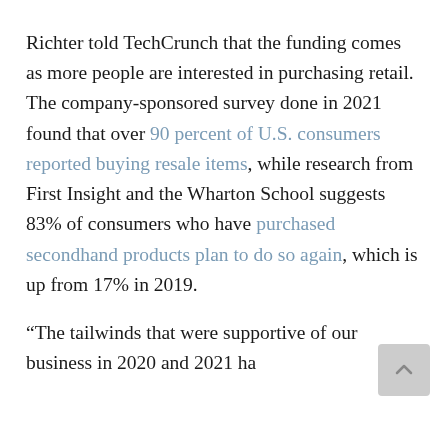Richter told TechCrunch that the funding comes as more people are interested in purchasing retail. The company-sponsored survey done in 2021 found that over 90 percent of U.S. consumers reported buying resale items, while research from First Insight and the Wharton School suggests 83% of consumers who have purchased secondhand products plan to do so again, which is up from 17% in 2019.
“The tailwinds that were supportive of our business in 2020 and 2021 have...